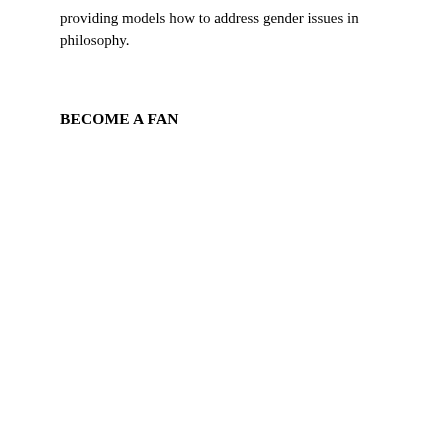providing models how to address gender issues in philosophy.
BECOME A FAN
(No that this argu as it stan is invi In ord to be vali